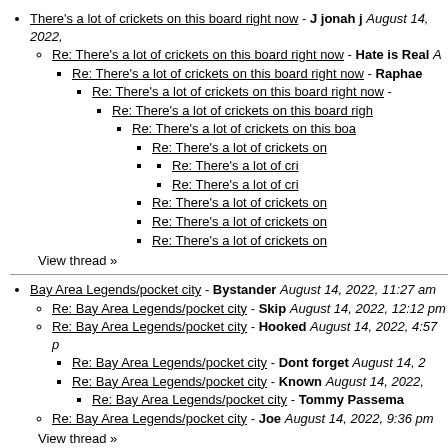There's a lot of crickets on this board right now - J jonah j August 14, 2022,
Re: There's a lot of crickets on this board right now - Hate is Real A
Re: There's a lot of crickets on this board right now - Raphae
Re: There's a lot of crickets on this board right now -
Re: There's a lot of crickets on this board righ
Re: There's a lot of crickets on this boa
Re: There's a lot of crickets on
Re: There's a lot of cri
Re: There's a lot of cri
Re: There's a lot of crickets on
Re: There's a lot of crickets on
Re: There's a lot of crickets on
View thread »
Bay Area Legends/pocket city - Bystander August 14, 2022, 11:27 am
Re: Bay Area Legends/pocket city - Skip August 14, 2022, 12:12 pm
Re: Bay Area Legends/pocket city - Hooked August 14, 2022, 4:57 p
Re: Bay Area Legends/pocket city - Dont forget August 14, 2
Re: Bay Area Legends/pocket city - Known August 14, 2022,
Re: Bay Area Legends/pocket city - Tommy Passema
Re: Bay Area Legends/pocket city - Joe August 14, 2022, 9:36 pm
View thread »